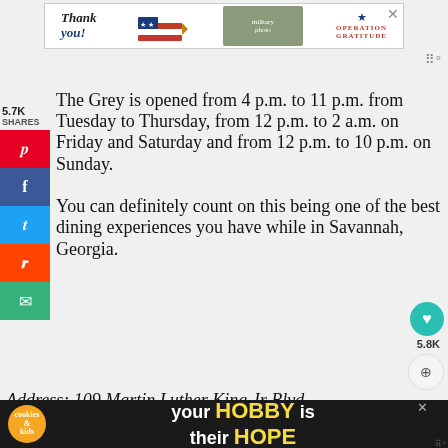[Figure (infographic): Ad banner showing 'Thank you!' text with American flag pencil, military personnel photo, and Operation Gratitude logo with star]
The Grey is opened from 4 p.m. to 11 p.m. from Tuesday to Thursday, from 12 p.m. to 2 a.m. on Friday and Saturday and from 12 p.m. to 10 p.m. on Sunday.
You can definitely count on this being one of the best dining experiences you have while in Savannah, Georgia.
Address: 109 Martin Luther King Jr Blvd,
[Figure (infographic): Bottom ad banner with cookies and kid cancer logo, text 'your HOBBY is their HOPE' on dark background]